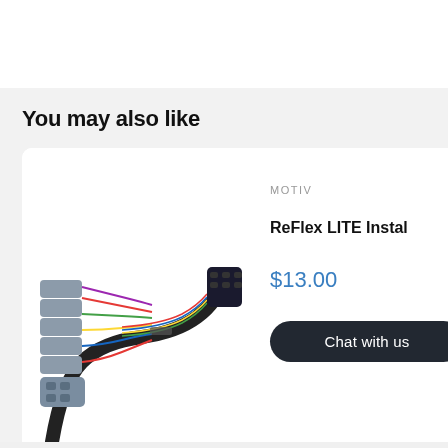You may also like
[Figure (photo): Wiring harness with multiple gray connectors and colorful wires, coiled cable product photo on white background]
MOTIV
ReFlex LITE Instal
$13.00
Chat with us